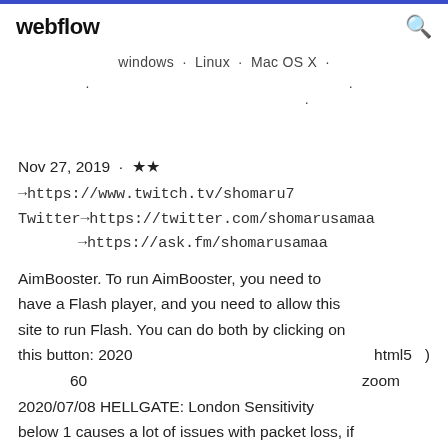webflow  [search icon]
Windows · Linux · Mac OS X ·
· · ·
Nov 27, 2019 · ★★
→https://www.twitch.tv/shomaru7
Twitter→https://twitter.com/shomarusamaa
→https://ask.fm/shomarusamaa
AimBooster. To run AimBooster, you need to have a Flash player, and you need to allow this site to run Flash. You can do both by clicking on this button: 2020          html5   )
         60                            zoom
2020/07/08 HELLGATE: London Sensitivity below 1 causes a lot of issues with packet loss, if